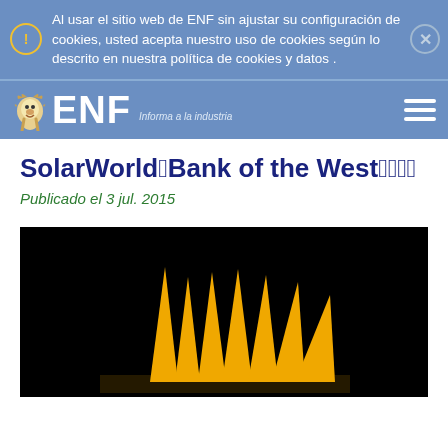Al usar el sitio web de ENF sin ajustar su configuración de cookies, usted acepta nuestro uso de cookies según lo descrito en nuestra política de cookies y datos .
ENF — Informa a la industria
SolarWorld Bank of the West
Publicado el 3 jul. 2015
[Figure (logo): SolarWorld logo on black background with gold/yellow spike shapes arranged in a fan/crown pattern]